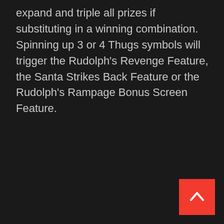expand and triple all prizes if substituting in a winning combination. Spinning up 3 or 4 Thugs symbols will trigger the Rudolph's Revenge Feature, the Santa Strikes Back Feature or the Rudolph's Rampage Bonus Screen Feature.
[Figure (other): Red square scroll-to-top button with white upward-pointing chevron/arrow icon, positioned at bottom-right corner]